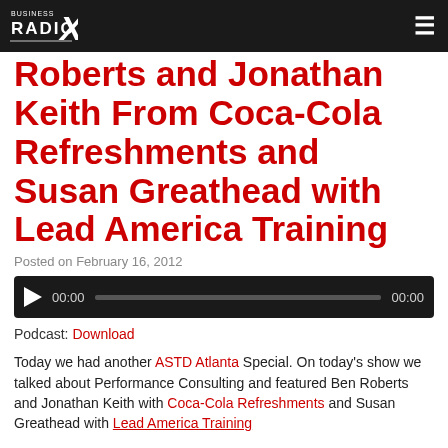Business Radio X
Roberts and Jonathan Keith From Coca-Cola Refreshments and Susan Greathead with Lead America Training
Posted on February 16, 2012
[Figure (other): Audio player widget with play button, time display 00:00, progress bar, and end time 00:00]
Podcast: Download
Today we had another ASTD Atlanta Special. On today's show we talked about Performance Consulting and featured Ben Roberts and Jonathan Keith with Coca-Cola Refreshments and Susan Greathead with Lead America Training